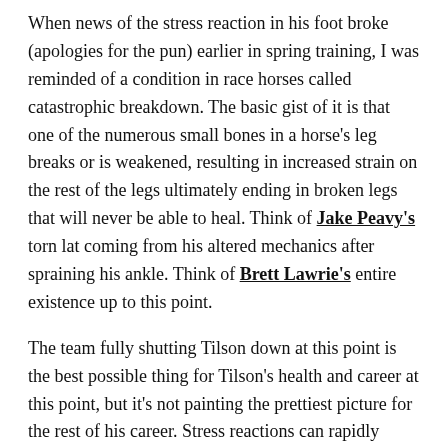When news of the stress reaction in his foot broke (apologies for the pun) earlier in spring training, I was reminded of a condition in race horses called catastrophic breakdown. The basic gist of it is that one of the numerous small bones in a horse's leg breaks or is weakened, resulting in increased strain on the rest of the legs ultimately ending in broken legs that will never be able to heal. Think of Jake Peavy's torn lat coming from his altered mechanics after spraining his ankle. Think of Brett Lawrie's entire existence up to this point.
The team fully shutting Tilson down at this point is the best possible thing for Tilson's health and career at this point, but it's not painting the prettiest picture for the rest of his career. Stress reactions can rapidly become stress fractures, turning plus speed into mediocrity with alarming quickness. Tilson's life as a baseball player isn't quite in its third act just yet, but it's closer to being there than it was a month ago.
Lead Photo Credit: Rick Osentoski-USA TODAY Sports
Tags: Charlie Tilson, Chicago White Sox, Dr. 100, Peter Bourjos |